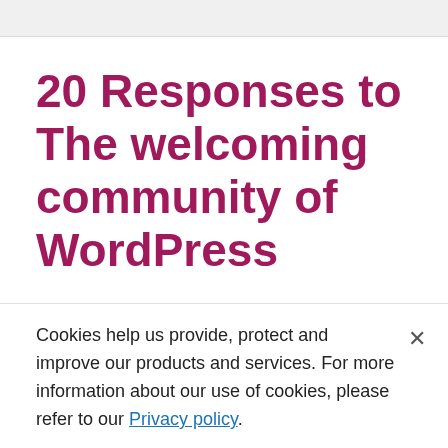20 Responses to The welcoming community of WordPress
Helping Area • 2 years ago
Yesterday i transfer my website from blogger to WordPress and installed yoast
Cookies help us provide, protect and improve our products and services. For more information about our use of cookies, please refer to our Privacy policy.